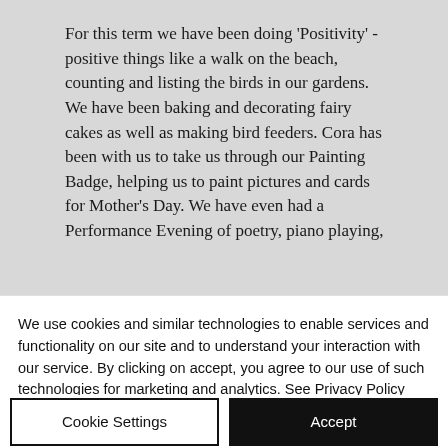For this term we have been doing 'Positivity' - positive things like a walk on the beach, counting and listing the birds in our gardens. We have been baking and decorating fairy cakes as well as making bird feeders. Cora has been with us to take us through our Painting Badge, helping us to paint pictures and cards for Mother's Day. We have even had a Performance Evening of poetry, piano playing,
We use cookies and similar technologies to enable services and functionality on our site and to understand your interaction with our service. By clicking on accept, you agree to our use of such technologies for marketing and analytics. See Privacy Policy
Cookie Settings
Accept